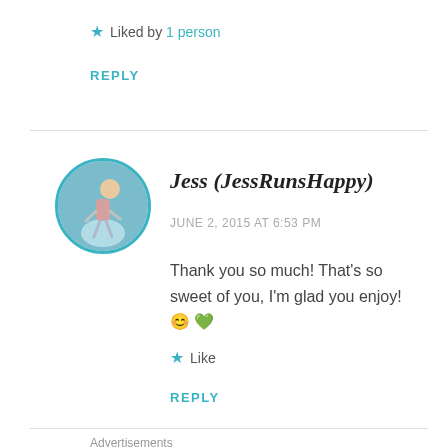★ Liked by 1 person
REPLY
[Figure (photo): Profile photo of Jess (JessRunsHappy), circular avatar with teal border showing a person running outdoors]
Jess (JessRunsHappy)
JUNE 2, 2015 AT 6:53 PM
Thank you so much! That's so sweet of you, I'm glad you enjoy! 😊 💚
Like
REPLY
Advertisements